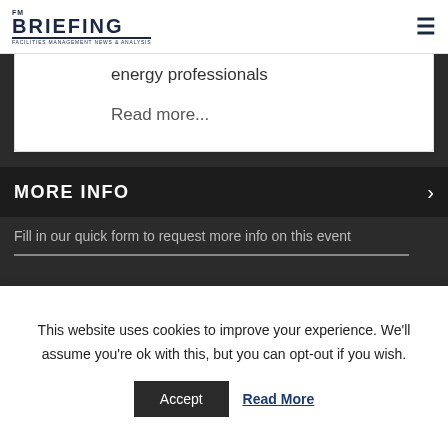FM BRIEFING | FACILITIES MANAGEMENT NEWS & ANALYSIS
energy professionals
Read more...
MORE INFO
Fill in our quick form to request more info on this event
This website uses cookies to improve your experience. We'll assume you're ok with this, but you can opt-out if you wish.
Accept  Read More